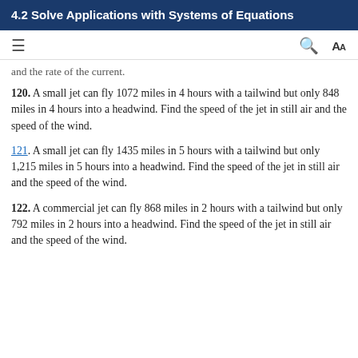4.2 Solve Applications with Systems of Equations
and the rate of the current.
120. A small jet can fly 1072 miles in 4 hours with a tailwind but only 848 miles in 4 hours into a headwind. Find the speed of the jet in still air and the speed of the wind.
121. A small jet can fly 1435 miles in 5 hours with a tailwind but only 1,215 miles in 5 hours into a headwind. Find the speed of the jet in still air and the speed of the wind.
122. A commercial jet can fly 868 miles in 2 hours with a tailwind but only 792 miles in 2 hours into a headwind. Find the speed of the jet in still air and the speed of the wind.